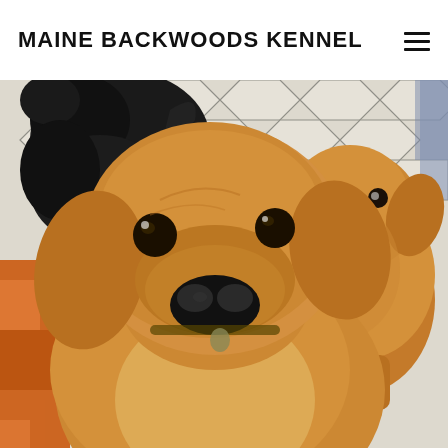MAINE BACKWOODS KENNEL
[Figure (photo): Two golden retrievers and a black dog on a hexagonal tile floor. One golden retriever is close-up in the foreground looking at the camera, another golden retriever is in the middle-background also looking at the camera, and a black dog is partially visible in the upper left.]